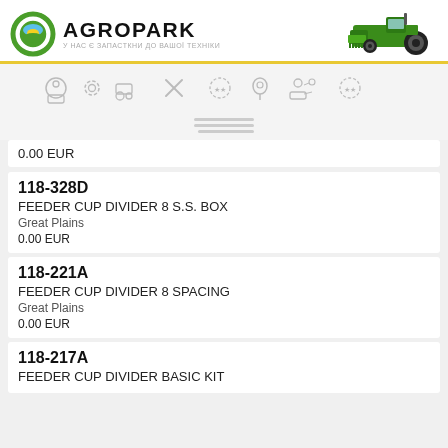AGROPARK — У НАС Є ЗАПАСТКНИ ДО ВАШОЇ ТЕХНІКИ
[Figure (logo): Agropark logo with gear and wheat field icon]
[Figure (photo): Green John Deere combine harvester]
[Figure (infographic): Navigation icons row: globe, settings, tractor, tools, star-settings, location pin, people, star-settings]
0.00 EUR
118-328D
FEEDER CUP DIVIDER 8 S.S. BOX
Great Plains
0.00 EUR
118-221A
FEEDER CUP DIVIDER 8 SPACING
Great Plains
0.00 EUR
118-217A
FEEDER CUP DIVIDER BASIC KIT